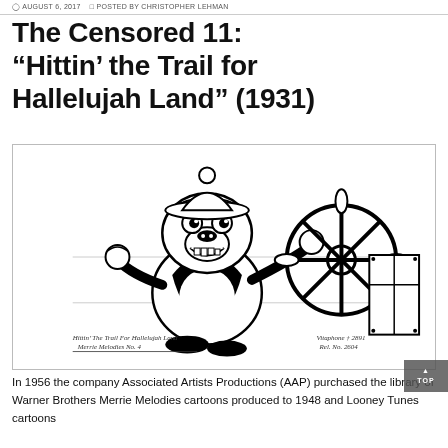AUGUST 6, 2017   POSTED BY CHRISTOPHER LEHMAN
The Censored 11: “Hittin’ the Trail for Hallelujah Land” (1931)
[Figure (illustration): Black and white cartoon illustration of an anthropomorphic monkey character smiling and steering a ship's wheel. Text at bottom left reads 'Hittin' The Trail For Hallelujah Land / Merrie Melodies No. 4' and at bottom right 'Vitaphone 2891 / Rel. No. 2604'.]
In 1956 the company Associated Artists Productions (AAP) purchased the library of Warner Brothers Merrie Melodies cartoons produced to 1948 and Looney Tunes cartoons